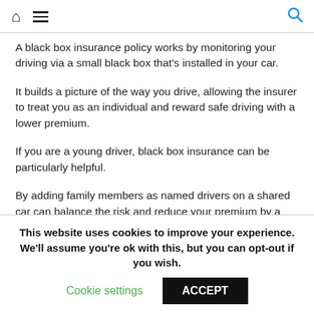Home | Menu | Search
A black box insurance policy works by monitoring your driving via a small black box that's installed in your car.
It builds a picture of the way you drive, allowing the insurer to treat you as an individual and reward safe driving with a lower premium.
If you are a young driver, black box insurance can be particularly helpful.
By adding family members as named drivers on a shared car can balance the risk and reduce your premium by a few pounds.
This website uses cookies to improve your experience. We'll assume you're ok with this, but you can opt-out if you wish.
Cookie settings | ACCEPT